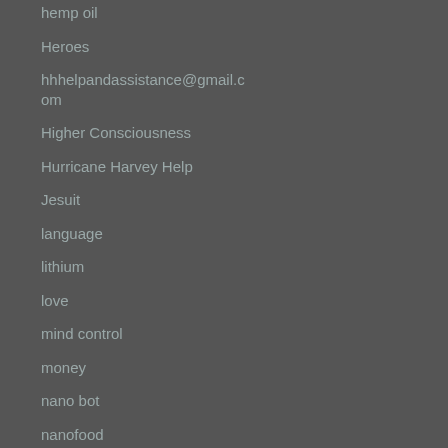hemp oil
Heroes
hhhelpandassistance@gmail.com
Higher Consciousness
Hurricane Harvey Help
Jesuit
language
lithium
love
mind control
money
nano bot
nanofood
NASA Hoax